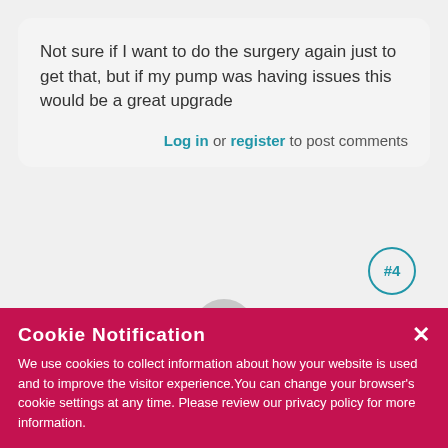Not sure if I want to do the surgery again just to get that,  but if my pump was having issues this would be a great upgrade
Log in or register to post comments
[Figure (other): Second comment card with #4 badge circle and avatar placeholder at bottom]
Cookie Notification
We use cookies to collect information about how your website is used and to improve the visitor experience.You can change your browser's cookie settings at any time. Please review our privacy policy for more information.